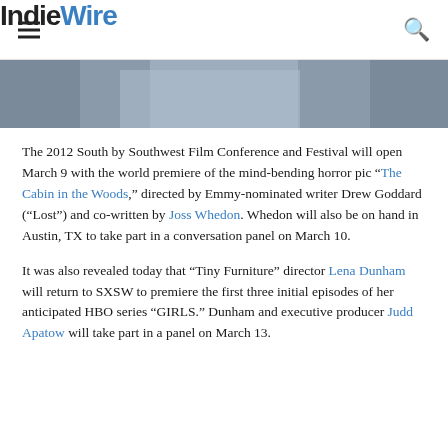IndieWire
[Figure (photo): Partial photo showing a person in a light blue shirt, cropped at top of page below the header]
The 2012 South by Southwest Film Conference and Festival will open March 9 with the world premiere of the mind-bending horror pic “The Cabin in the Woods,” directed by Emmy-nominated writer Drew Goddard (“Lost”) and co-written by Joss Whedon. Whedon will also be on hand in Austin, TX to take part in a conversation panel on March 10.
It was also revealed today that “Tiny Furniture” director Lena Dunham will return to SXSW to premiere the first three initial episodes of her anticipated HBO series “GIRLS.” Dunham and executive producer Judd Apatow will take part in a panel on March 13.